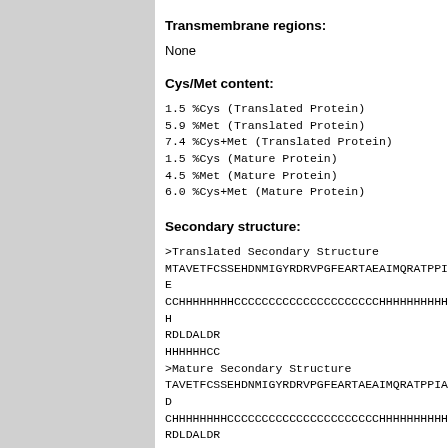Transmembrane regions:
None
Cys/Met content:
1.5 %Cys      (Translated Protein)
5.9 %Met      (Translated Protein)
7.4 %Cys+Met (Translated Protein)
1.5 %Cys      (Mature Protein)
4.5 %Met      (Mature Protein)
6.0 %Cys+Met (Mature Protein)
Secondary structure:
>Translated Secondary Structure
MTAVETFCSSEHDNMIGYRDRVPGFEARTAEAIMQRATPPIADTVR
CCHHHHHHHCCCCCCCCCCCCCCCCCCCCCHHHHHHHHHHHHCCCCCHHHHHHHH
RDLDALDR
HHHHHHHCC
>Mature Secondary Structure
TAVETFCSSEHDNMIGYRDRVPGFEARTAEAIMQRATPPIADTVRE
CHHHHHHHCCCCCCCCCCCCCCCCCCCCCCHHHHHHHHHHHHHCCCCCHHHHHHHHH
RDLDALDR
HHHHHHHCC
PDB accession: NA